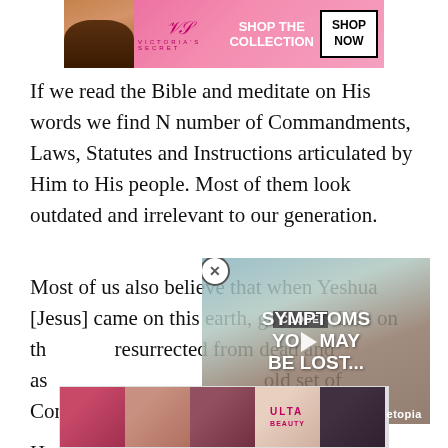[Figure (photo): Victoria's Secret advertisement banner at top of page]
If we read the Bible and meditate on His words we find N number of Commandments, Laws, Statutes and Instructions articulated by Him to His people. Most of them look outdated and irrelevant to our generation.
Most of us also believe that when Yeshua [Jesus] came on this earth, gave His Life on the cross, resurrected from dead and ascended, He abolished the old set of Commandments, Laws, Statutes and Instructions mentioned in the Old Testament and gave us a new set.
[Figure (screenshot): Video overlay showing text SYMPTOMS YOU MAY BE LOST... with play button and etopia branding]
However, if we read Matthew 5:17-20, Yeshua Himself says,
[Figure (photo): Ulta beauty advertisement banner at bottom of page with CLOSE button and SHOP NOW button]